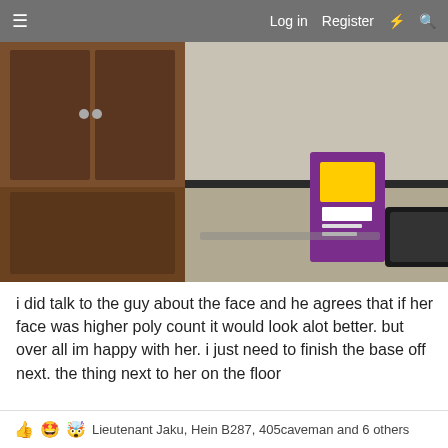Log in   Register
[Figure (photo): Lower half of a person wearing a full blue morphsuit/zentai costume with blue shoe covers, standing on a carpet floor next to cardboard boxes with purple branding, a wooden cabinet in the background, and white equipment to the right.]
i did talk to the guy about the face and he agrees that if her face was higher poly count it would look alot better. but over all im happy with her. i just need to finish the base off next. the thing next to her on the floor
Reply
Lieutenant Jaku, Hein B287, 405caveman and 6 others